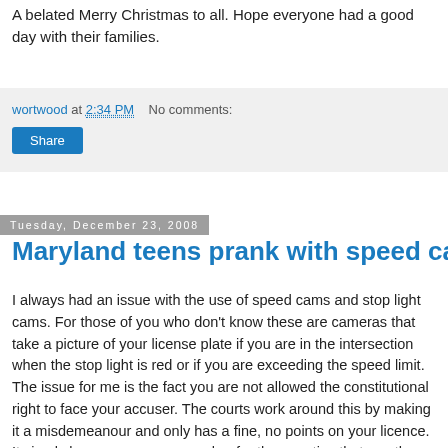A belated Merry Christmas to all. Hope everyone had a good day with their families.
wortwood at 2:34 PM    No comments:
Share
Tuesday, December 23, 2008
Maryland teens prank with speed cams
I always had an issue with the use of speed cams and stop light cams. For those of you who don't know these are cameras that take a picture of your license plate if you are in the intersection when the stop light is red or if you are exceeding the speed limit. The issue for me is the fact you are not allowed the constitutional right to face your accuser. The courts work around this by making it a misdemeanour and only has a fine, no points on your licence. It simply becomes a money maker for the counties that use them.